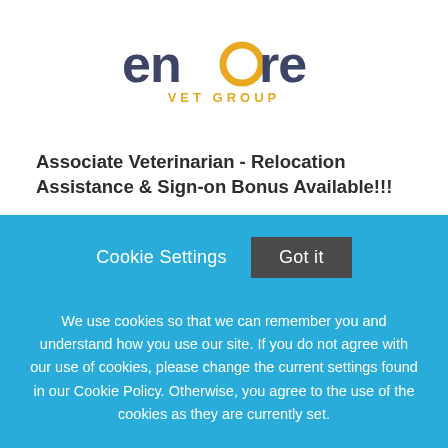[Figure (logo): Encore Vet Group logo — stylized lowercase 'encore' in dark navy/slate with a golden-yellow circular motif on the 'o', and 'VET GROUP' in gold uppercase tracking below]
Associate Veterinarian - Relocation Assistance & Sign-on Bonus Available!!!
The Pet Hospital of Granbury
Granbury , Texas
Cookie Settings
Got it
We use cookies so that we can remember you and understand how you use our site. If you do not agree with our use of cookies, please change the current settings found in our Cookie Policy. Otherwise, you agree to the use of the cookies as they are currently set.